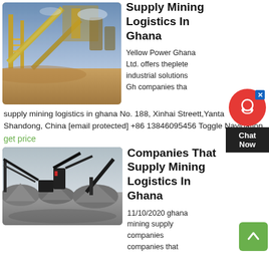[Figure (photo): Industrial mining facility with large yellow conveyor structures and machinery at dusk]
Supply Mining Logistics In Ghana
Yellow Power Ghana Ltd. offers theplete industrial solutions Gh companies tha supply mining logistics in ghana No. 188, Xinhai Streett,Yanta Shandong, China [email protected] +86 13846095456 Toggle Navigation
get price
[Figure (photo): Mining equipment and machinery with large piles of crushed stone/gravel]
Companies That Supply Mining Logistics In Ghana
11/10/2020 ghana mining supply companies companies that